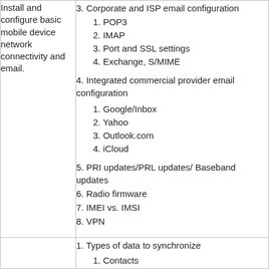Install and configure basic mobile device network connectivity and email.
3. Corporate and ISP email configuration
1. POP3
2. IMAP
3. Port and SSL settings
4. Exchange, S/MIME
4. Integrated commercial provider email configuration
1. Google/Inbox
2. Yahoo
3. Outlook.com
4. iCloud
5. PRI updates/PRL updates/ Baseband updates
6. Radio firmware
7. IMEI vs. IMSI
8. VPN
1. Types of data to synchronize
1. Contacts